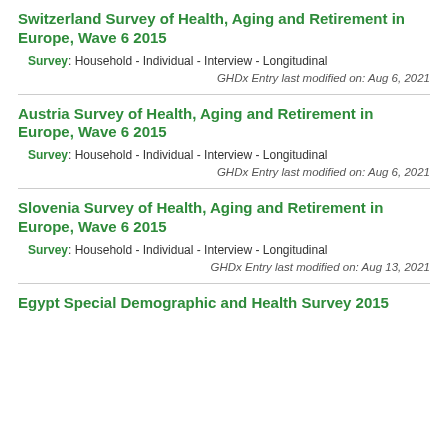Switzerland Survey of Health, Aging and Retirement in Europe, Wave 6 2015
Survey: Household - Individual - Interview - Longitudinal
GHDx Entry last modified on: Aug 6, 2021
Austria Survey of Health, Aging and Retirement in Europe, Wave 6 2015
Survey: Household - Individual - Interview - Longitudinal
GHDx Entry last modified on: Aug 6, 2021
Slovenia Survey of Health, Aging and Retirement in Europe, Wave 6 2015
Survey: Household - Individual - Interview - Longitudinal
GHDx Entry last modified on: Aug 13, 2021
Egypt Special Demographic and Health Survey 2015